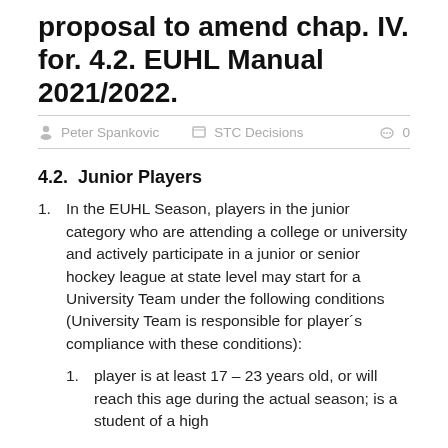proposal to amend chap. IV. for. 4.2. EUHL Manual 2021/2022.
Peter Spankovic   STC Decisions   0
4.2.  Junior Players
In the EUHL Season, players in the junior category who are attending a college or university and actively participate in a junior or senior hockey league at state level may start for a University Team under the following conditions (University Team is responsible for player´s compliance with these conditions):
player is at least 17 – 23 years old, or will reach this age during the actual season; is a student of a high